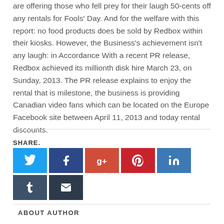are offering those who fell prey for their laugh 50-cents off any rentals for Fools' Day. And for the welfare with this report: no food products does be sold by Redbox within their kiosks. However, the Business's achievement isn't any laugh: in Accordance With a recent PR release, Redbox achieved its millionth disk hire March 23, on Sunday, 2013. The PR release explains to enjoy the rental that is milestone, the business is providing Canadian video fans which can be located on the Europe Facebook site between April 11, 2013 and today rental discounts.
SHARE.
[Figure (infographic): Social media share buttons: Twitter (blue), Facebook (dark blue), Google+ (orange-red), Pinterest (red), LinkedIn (blue), Tumblr (dark slate), Email (dark navy)]
ABOUT AUTHOR